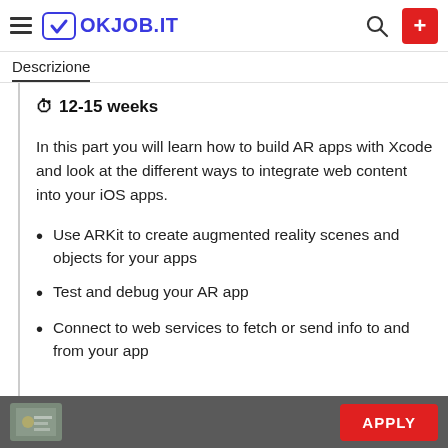OKJOB.IT
Descrizione
⏱ 12-15 weeks
In this part you will learn how to build AR apps with Xcode and look at the different ways to integrate web content into your iOS apps.
Use ARKit to create augmented reality scenes and objects for your apps
Test and debug your AR app
Connect to web services to fetch or send info to and from your app
APPLY